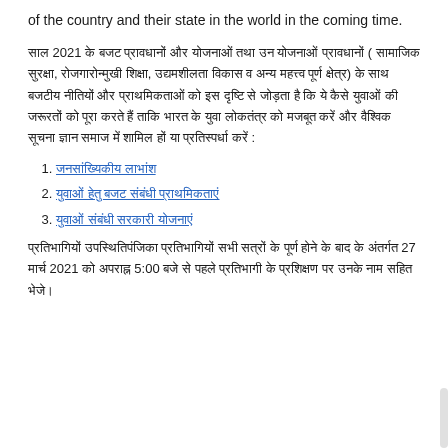of the country and their state in the world in the coming time.
साल 2021 के बजट प्रावधानों और योजनाओं तथा उन योजनाओं प्रावधानों ( सामाजिक सुरक्षा, रोजगारोन्मुखी शिक्षा, उद्यमशीलता विकास व अन्य महत्त्व पूर्ण क्षेत्र) के साथ बजटीय नीतियों और प्राथमिकताओं को इस दृष्टि से जोड़ता है कि ये कैसे युवाओं की जरूरतों को पूरा करते हैं ताकि भारत के युवा लोकतंत्र को मजबूत करें और वैश्विक सूचना ज्ञान समाज में शामिल हों या प्रतिस्पर्धा करें :
जनसांख्यिकीय लाभांश
युवाओं हेतु बजट संबंधी प्राथमिकताएं
युवाओं संबंधी सरकारी योजनाएं
प्रतिभागियों उपस्थितिपंजिका प्रतिभागियों सभी सत्रों के पूर्ण होने के बाद के अंतर्गत 27 मार्च 2021 को अपराह्न 5:00 बजे से पहले प्रतिभागी के प्रशिक्षण पर उनके नाम सहित भेजे।